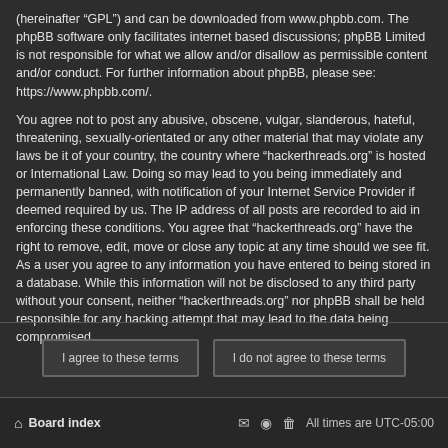(hereinafter “GPL”) and can be downloaded from www.phpbb.com. The phpBB software only facilitates internet based discussions; phpBB Limited is not responsible for what we allow and/or disallow as permissible content and/or conduct. For further information about phpBB, please see: https://www.phpbb.com/.
You agree not to post any abusive, obscene, vulgar, slanderous, hateful, threatening, sexually-orientated or any other material that may violate any laws be it of your country, the country where “hackerthreads.org” is hosted or International Law. Doing so may lead to you being immediately and permanently banned, with notification of your Internet Service Provider if deemed required by us. The IP address of all posts are recorded to aid in enforcing these conditions. You agree that “hakerthreads.org” have the right to remove, edit, move or close any topic at any time should we see fit. As a user you agree to any information you have entered to being stored in a database. While this information will not be disclosed to any third party without your consent, neither “hakerthreads.org” nor phpBB shall be held responsible for any hacking attempt that may lead to the data being compromised.
I agree to these terms | I do not agree to these terms
Board index  All times are UTC-05:00